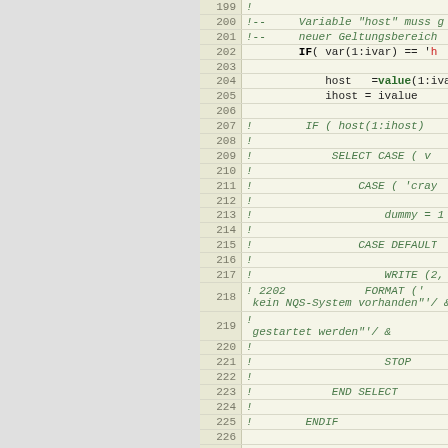[Figure (screenshot): Fortran source code editor view showing lines 199-229, with line numbers on the left in a beige gutter column. Code includes commented-out sections (in green italic) and active code (in black bold/normal), showing variable assignments, IF/ELSEIF constructs, SELECT CASE statements, WRITE, FORMAT, STOP, END SELECT, ENDIF, and ELSEIF statements. Comments are in German.]